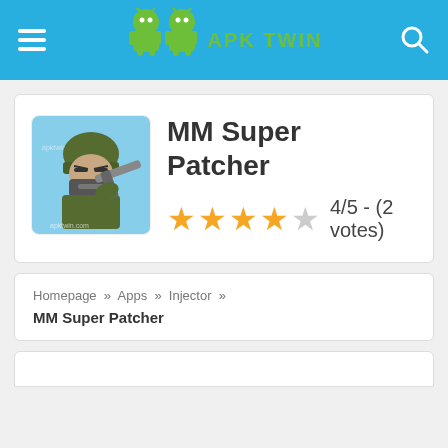APK TWIN
MM Super Patcher
4/5 - (2 votes)
Homepage » Apps » Injector »
MM Super Patcher